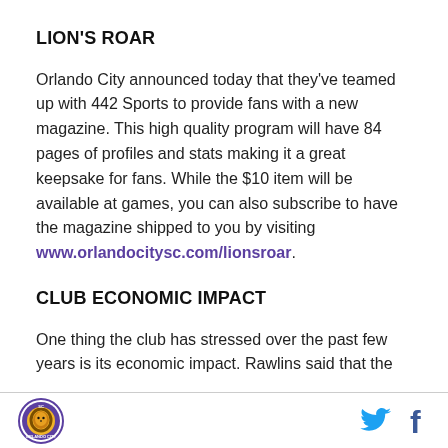LION'S ROAR
Orlando City announced today that they've teamed up with 442 Sports to provide fans with a new magazine. This high quality program will have 84 pages of profiles and stats making it a great keepsake for fans. While the $10 item will be available at games, you can also subscribe to have the magazine shipped to you by visiting www.orlandocitysc.com/lionsroar.
CLUB ECONOMIC IMPACT
One thing the club has stressed over the past few years is its economic impact. Rawlins said that the
Orlando City logo | Twitter icon | Facebook icon